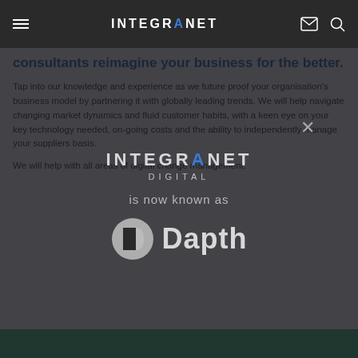INTEGRANET (navigation bar with menu icon, logo, mail icon, search icon)
consultants reimagine your business for the better.
Tap into our knowledge and experience as we future proof your organisation's business model by partnering it with globally leading trends. We will help navigate changing market dynamics and fluid customer habits, with a keen eye on your key technology needed, on-going costs and the ability to independently manage your suppliers basis.
We will help with all areas of digital change management:
[Figure (screenshot): Modal overlay showing 'INTEGRANET DIGITAL is now known as Dapth' with a Dapth logo (half-circle icon) on a dark semi-transparent background, with a close (X) button in the top right.]